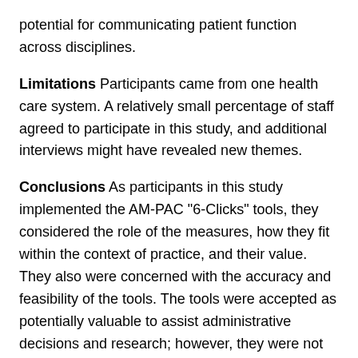potential for communicating patient function across disciplines.
Limitations Participants came from one health care system. A relatively small percentage of staff agreed to participate in this study, and additional interviews might have revealed new themes.
Conclusions As participants in this study implemented the AM-PAC "6-Clicks" tools, they considered the role of the measures, how they fit within the context of practice, and their value. They also were concerned with the accuracy and feasibility of the tools. The tools were accepted as potentially valuable to assist administrative decisions and research; however, they were not perceived as particularly useful for routine patient care. Participants lacked complete confidence in the reliability of their scoring and expressed concern that the scores might be substituted for their clinical decision making. They also felt that the tools were too simple to fully reflect patients' overall function and were not useful alone for discharge planning. Participants believed the tools had the potential to be used